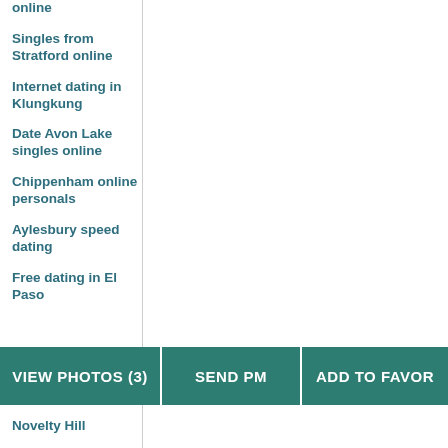online
Singles from Stratford online
Internet dating in Klungkung
Date Avon Lake singles online
Chippenham online personals
Aylesbury speed dating
Free dating in El Paso
Novelty Hill